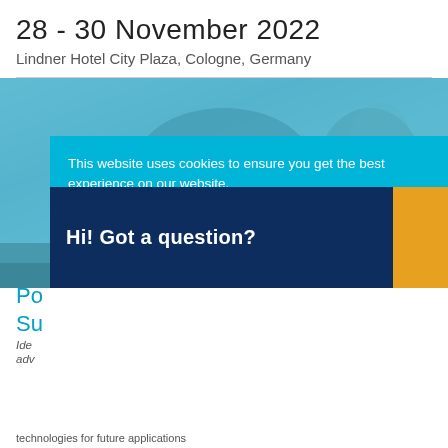28 - 30 November 2022
Lindner Hotel City Plaza, Cologne, Germany
[Figure (photo): Person tying running shoe laces, seen from close up, with a blue-toned color overlay]
This website uses cookies to ensure you get the best experience on our website. Learn more
Hi! Got a question?
Po Su
Ide adv
technologies for future applications